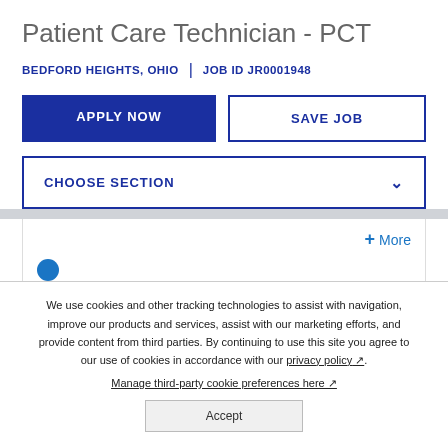Patient Care Technician - PCT
BEDFORD HEIGHTS, OHIO  |  JOB ID JR0001948
APPLY NOW
SAVE JOB
CHOOSE SECTION
+ More
We use cookies and other tracking technologies to assist with navigation, improve our products and services, assist with our marketing efforts, and provide content from third parties. By continuing to use this site you agree to our use of cookies in accordance with our privacy policy. Manage third-party cookie preferences here.
Accept